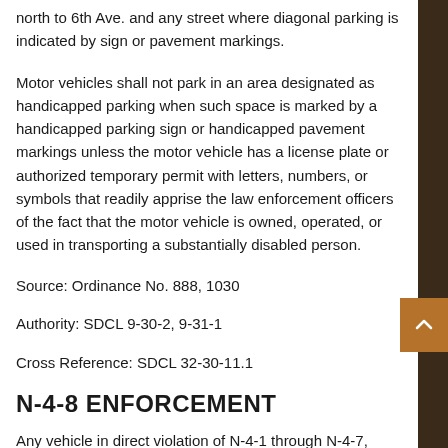north to 6th Ave. and any street where diagonal parking is indicated by sign or pavement markings.
Motor vehicles shall not park in an area designated as handicapped parking when such space is marked by a handicapped parking sign or handicapped pavement markings unless the motor vehicle has a license plate or authorized temporary permit with letters, numbers, or symbols that readily apprise the law enforcement officers of the fact that the motor vehicle is owned, operated, or used in transporting a substantially disabled person.
Source: Ordinance No. 888, 1030
Authority: SDCL 9-30-2, 9-31-1
Cross Reference: SDCL 32-30-11.1
N-4-8 ENFORCEMENT
Any vehicle in direct violation of N-4-1 through N-4-7,